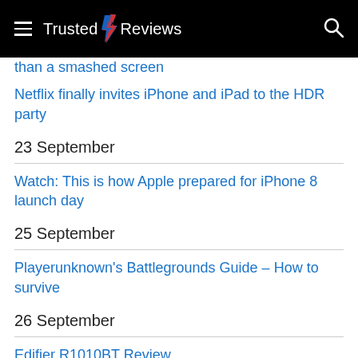Trusted Reviews
than a smashed screen
Netflix finally invites iPhone and iPad to the HDR party
23 September
Watch: This is how Apple prepared for iPhone 8 launch day
25 September
Playerunknown's Battlegrounds Guide – How to survive
26 September
Edifier R1010BT Review